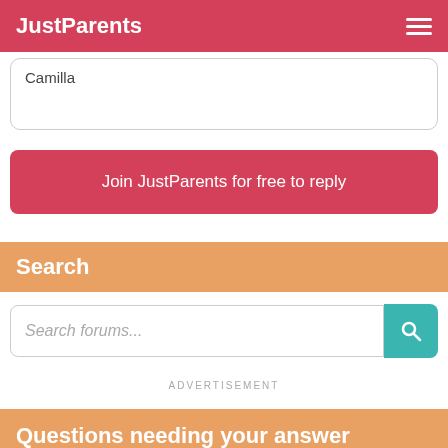JustParents
Camilla
Join JustParents for free to reply
Search
Search forums...
ADVERTISEMENT
Questions needing your answer